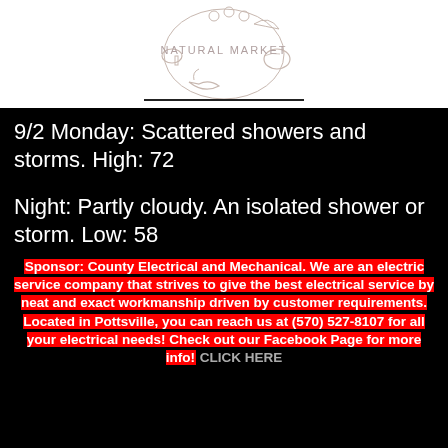[Figure (logo): Natural Market logo with illustrated vegetables and fruits arranged in a circle, with text 'NATURAL MARKET' in the center]
9/2 Monday: Scattered showers and storms. High: 72
Night: Partly cloudy. An isolated shower or storm. Low: 58
Sponsor: County Electrical and Mechanical. We are an electric service company that strives to give the best electrical service by neat and exact workmanship driven by customer requirements. Located in Pottsville, you can reach us at (570) 527-8107 for all your electrical needs! Check out our Facebook Page for more info! CLICK HERE